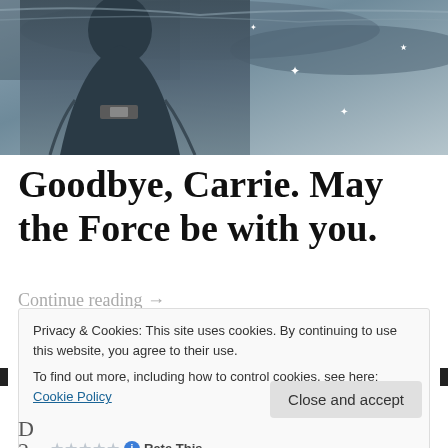[Figure (photo): A person (likely Carrie Fisher) standing in a dramatic pose against a grey sky background with star-like sparkles, in a blue-grey toned cinematic image]
Goodbye, Carrie. May the Force be with you.
Continue reading →
Privacy & Cookies: This site uses cookies. By continuing to use this website, you agree to their use.
To find out more, including how to control cookies, see here: Cookie Policy
Close and accept